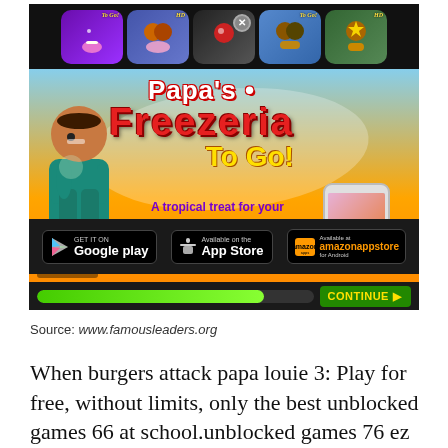[Figure (screenshot): Screenshot of Papa's Freezeria To Go! game advertisement page with app store download buttons (Google Play, App Store, Amazon Appstore), a progress bar with CONTINUE button, and game icons at the top.]
Source: www.famousleaders.org
When burgers attack papa louie 3: Play for free, without limits, only the best unblocked games 66 at school.unblocked games 76 ez site is the most popular papa's scooperia